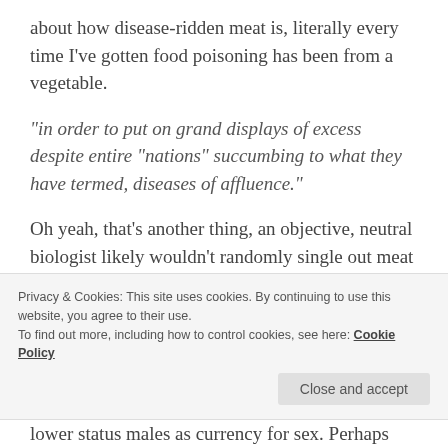about how disease-ridden meat is, literally every time I've gotten food poisoning has been from a vegetable.
“in order to put on grand displays of excess despite entire “nations” succumbing to what they have termed, diseases of affluence.”
Oh yeah, that’s another thing, an objective, neutral biologist likely wouldn’t randomly single out meat as the problem when there are a lot of factors causing the “disease of affluence,” such
Privacy & Cookies: This site uses cookies. By continuing to use this website, you agree to their use.
To find out more, including how to control cookies, see here: Cookie Policy
lower status males as currency for sex. Perhaps